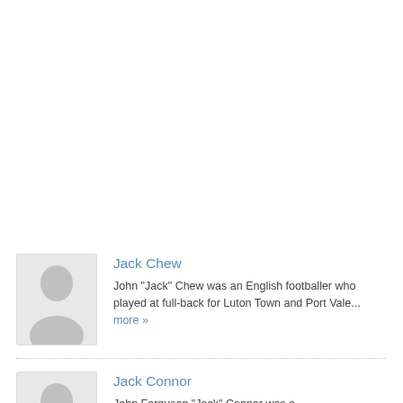[Figure (photo): Placeholder silhouette avatar for Jack Chew]
Jack Chew
John "Jack" Chew was an English footballer who played at full-back for Luton Town and Port Vale... more »
[Figure (photo): Placeholder silhouette avatar for Jack Connor]
Jack Connor
John Ferguson "Jack" Connor was a